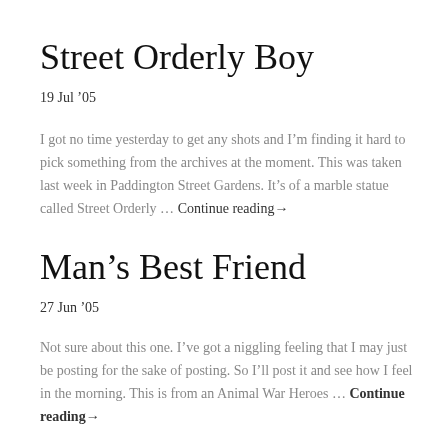Street Orderly Boy
19 Jul ’05
I got no time yesterday to get any shots and I’m finding it hard to pick something from the archives at the moment. This was taken last week in Paddington Street Gardens. It’s of a marble statue called Street Orderly … Continue reading→
Man’s Best Friend
27 Jun ’05
Not sure about this one. I’ve got a niggling feeling that I may just be posting for the sake of posting. So I’ll post it and see how I feel in the morning. This is from an Animal War Heroes … Continue reading→